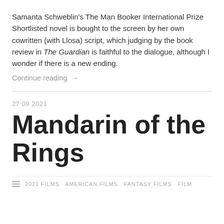Samanta Schweblin's The Man Booker International Prize Shortlisted novel is bought to the screen by her own cowritten (with Llosa) script, which judging by the book review in The Guardian is faithful to the dialogue, although I wonder if there is a new ending.
Continue reading →
27 09 2021
Mandarin of the Rings
2021 FILMS   AMERICAN FILMS   FANTASY FILMS   FILM